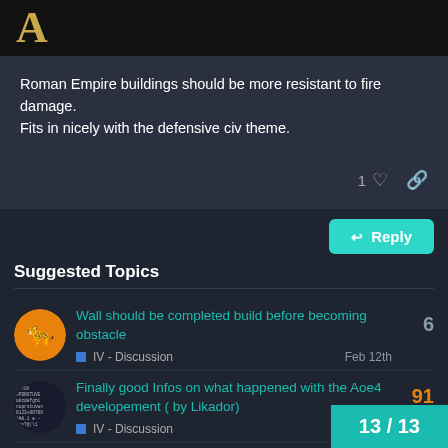A
Roman Empire buildings should be more resistant to fire damage. Fits in nicely with the defensive civ theme.
Reply
Suggested Topics
Wall should be completed build before becoming obstacle
IV - Discussion
Feb 12th
6
Finally good Infos on what happened with the Aoe4 developement ( by Likador)
IV - Discussion
Apr 3rd
91
Landksnecht and Elephants In C
13 / 13